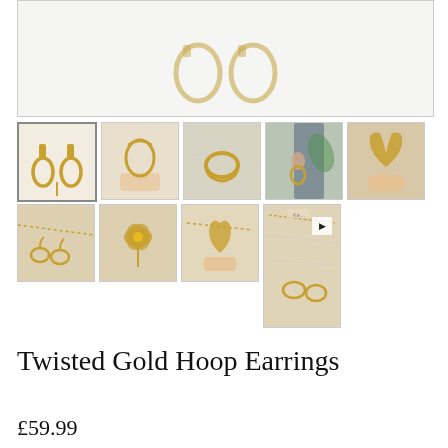[Figure (photo): Large main product image area showing twisted gold hoop earrings, partially visible at top]
[Figure (photo): Thumbnail 1: Gold hoop earrings on white background (selected)]
[Figure (photo): Thumbnail 2: Hand holding twisted gold earring]
[Figure (photo): Thumbnail 3: Gold hoop earrings on marble surface]
[Figure (photo): Thumbnail 4: Earring worn on ear with blue hair]
[Figure (photo): Thumbnail 5: Hand holding gold hoop earring close-up]
[Figure (photo): Thumbnail 6: Multiple gold hoop earrings on marble with chain]
[Figure (photo): Thumbnail 7: Gold flower/petal shaped earring close-up]
[Figure (photo): Thumbnail 8: Hand holding gold earring with chain]
[Figure (photo): Thumbnail 9 (video): Tall thumbnail with play button showing earrings on marble]
Twisted Gold Hoop Earrings
£59.99